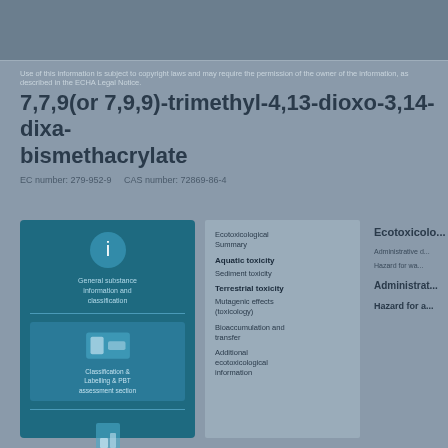Use of this information is subject to copyright laws and may require the permission of...
7,7,9(or 7,9,9)-trimethyl-4,13-dioxo-3,14-dioxabismethacrylate
EC number: 279-952-9    CAS number: 72869-86-4
[Figure (infographic): Teal information box with icons for general substance info, classification & labelling, and regulatory information]
Ecotoxicological Summary
Aquatic toxicity
Sediment toxicity
Terrestrial toxicity
Mutagenic effects (toxicology)
Bioaccumulation and transfer
Additional ecotoxicological information
Ecotoxicolo...
Administrative d...
Hazard for wa...
Administrat...
Hazard for a...